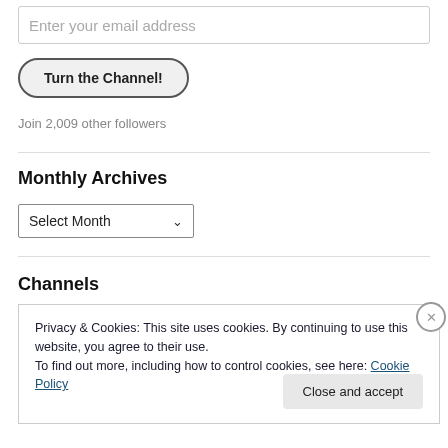Enter your email address
Turn the Channel!
Join 2,009 other followers
Monthly Archives
Select Month
Channels
Privacy & Cookies: This site uses cookies. By continuing to use this website, you agree to their use.
To find out more, including how to control cookies, see here: Cookie Policy
Close and accept